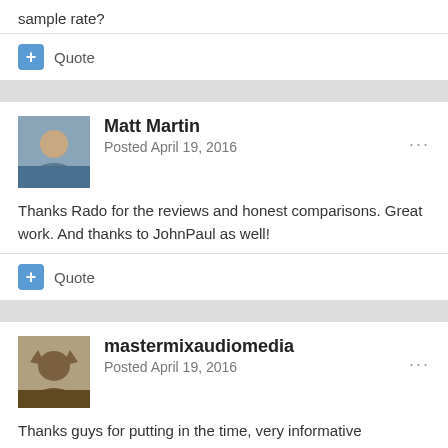sample rate?
+ Quote
Matt Martin
Posted April 19, 2016
Thanks Rado for the reviews and honest comparisons. Great work. And thanks to JohnPaul as well!
+ Quote
mastermixaudiomedia
Posted April 19, 2016
Thanks guys for putting in the time, very informative